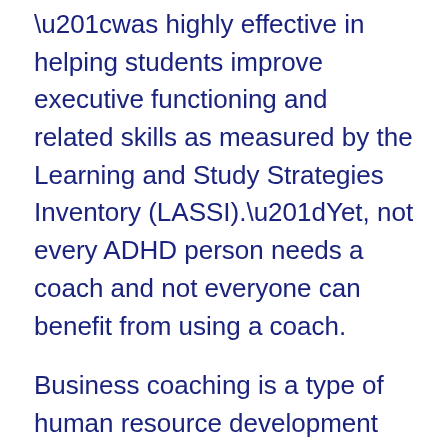“was highly effective in helping students improve executive functioning and related skills as measured by the Learning and Study Strategies Inventory (LASSI).”Yet, not every ADHD person needs a coach and not everyone can benefit from using a coach.
Business coaching is a type of human resource development for business leaders. It provides positive support, feedback and advice on an individual or group basis to improve personal effectiveness in the business setting, many a time focusing on behavioural changes through psychometrics